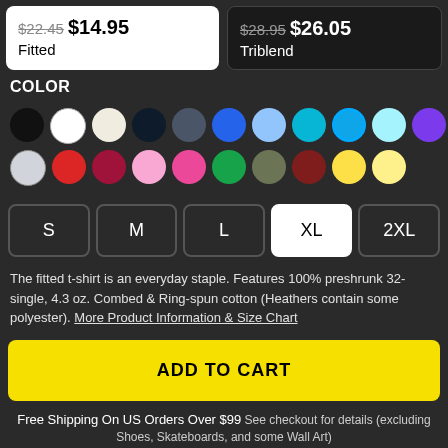$22.45 $14.95 Fitted
$28.95 $26.05 Triblend
COLOR
[Figure (other): Color swatches: black, white, cream, dark navy, slate, blue, light blue, teal, cyan/selected, light cyan, purple, dark gray, light gray, light gray, red, dark red, pink, hot pink, green, olive, brown/maroon, yellow, light yellow]
S M L XL 2XL size buttons, XL selected
The fitted t-shirt is an everyday staple. Features 100% preshrunk 32-single, 4.3 oz. Combed & Ring-spun cotton (Heathers contain some polyester). More Product Information & Size Chart
ADD TO CART
Free Shipping On US Orders Over $99 See checkout for details (excluding Shoes, Skateboards, and some Wall Art)